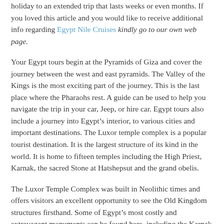holiday to an extended trip that lasts weeks or even months. If you loved this article and you would like to receive additional info regarding Egypt Nile Cruises kindly go to our own web page.
Your Egypt tours begin at the Pyramids of Giza and cover the journey between the west and east pyramids. The Valley of the Kings is the most exciting part of the journey. This is the last place where the Pharaohs rest. A guide can be used to help you navigate the trip in your car, Jeep, or hire car. Egypt tours also include a journey into Egypt's interior, to various cities and important destinations. The Luxor temple complex is a popular tourist destination. It is the largest structure of its kind in the world. It is home to fifteen temples including the High Priest, Karnak, the sacred Stone at Hatshepsut and the grand obelis.
The Luxor Temple Complex was built in Neolithic times and offers visitors an excellent opportunity to see the Old Kingdom structures firsthand. Some of Egypt's most costly and extravagant monuments can be found here, including the Karnak temples and the Valley of the Kings. Along your Egypt tours, you will also hear about the various artifacts that were discovered during...